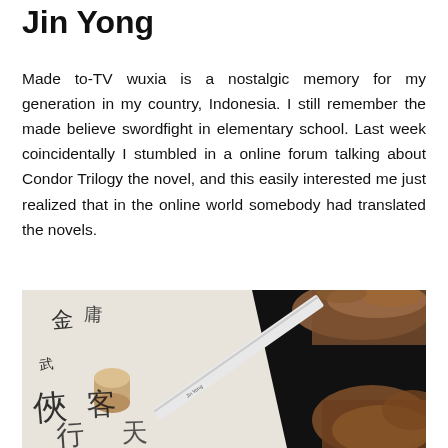Jin Yong
Made to-TV wuxia is a nostalgic memory for my generation in my country, Indonesia. I still remember the made believe swordfight in elementary school. Last week coincidentally I stumbled in a online forum talking about Condor Trilogy the novel, and this easily interested me just realized that in the online world somebody had translated the novels.
[Figure (photo): Photo showing Chinese calligraphy on white paper/scroll, a small cylinder-shaped object, a white sword or blade with text on it, and brown fur or animal hide on a black background.]